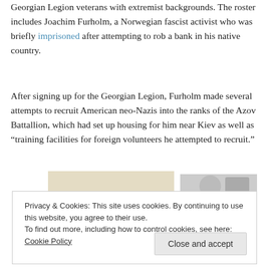Georgian Legion veterans with extremist backgrounds. The roster includes Joachim Furholm, a Norwegian fascist activist who was briefly imprisoned after attempting to rob a bank in his native country.
After signing up for the Georgian Legion, Furholm made several attempts to recruit American neo-Nazis into the ranks of the Azov Battallion, which had set up housing for him near Kiev as well as “training facilities for foreign volunteers he attempted to recruit.”
[Figure (photo): Partially visible image strip showing what appears to be food or objects on a surface, cropped by cookie banner overlay.]
Privacy & Cookies: This site uses cookies. By continuing to use this website, you agree to their use.
To find out more, including how to control cookies, see here: Cookie Policy
Close and accept